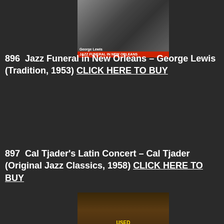[Figure (photo): Album cover for Jazz Funeral in New Orleans by George Lewis, showing a black and white photo of a musician with a red banner label]
896 Jazz Funeral in New Orleans – George Lewis (Tradition, 1953) CLICK HERE TO BUY
[Figure (photo): Album cover for Cal Tjader's Latin Concert on Fantasy Records, featuring an orange/brown illustration of a concert arena with a large vinyl record overhead]
897 Cal Tjader's Latin Concert – Cal Tjader (Original Jazz Classics, 1958) CLICK HERE TO BUY
[Figure (photo): Album cover partially visible, showing a musician with a saxophone, with a yellow 'USED' sticker visible]